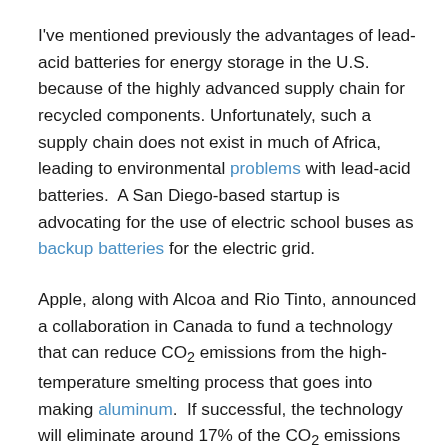I've mentioned previously the advantages of lead-acid batteries for energy storage in the U.S. because of the highly advanced supply chain for recycled components. Unfortunately, such a supply chain does not exist in much of Africa, leading to environmental problems with lead-acid batteries. A San Diego-based startup is advocating for the use of electric school buses as backup batteries for the electric grid.
Apple, along with Alcoa and Rio Tinto, announced a collaboration in Canada to fund a technology that can reduce CO2 emissions from the high-temperature smelting process that goes into making aluminum. If successful, the technology will eliminate around 17% of the CO2 emissions associated with aluminum production. A new pilot facility under construction in northern Sweden will produce steel using hydrogen from renewable electricity